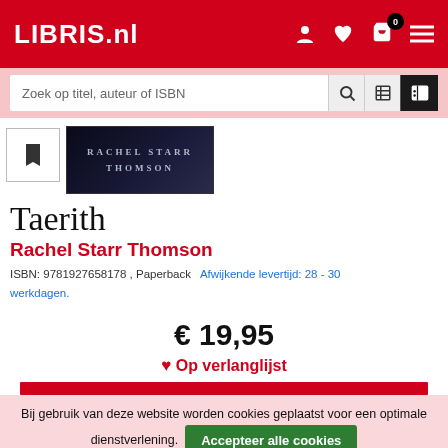LIBRIS.nl
Zoek op titel, auteur of ISBN
[Figure (screenshot): Book cover for Taerith by Rachel Starr Thomson — dark fantasy style cover with author name text on dark background]
Taerith
Rachel Starr Thomson
ISBN: 9781927658178 , Paperback  Afwijkende levertijd: 28 - 30 werkdagen.
€ 19,95
Op verlanglijst
Bij gebruik van deze website worden cookies geplaatst voor een optimale dienstverlening.
Accepteer alle cookies
Personaliseer
Lees meer over ons cookiebeleid